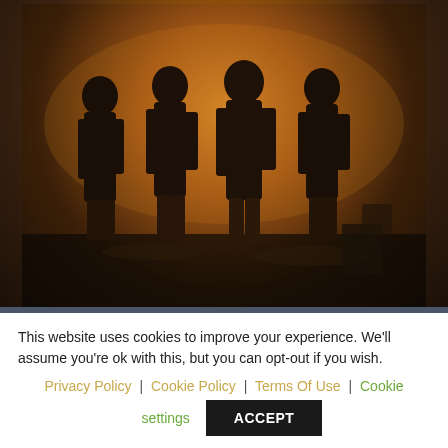[Figure (photo): Four members of English alternative progressive rock band The Pineapple Thief standing in a dark, warmly lit room with amber/brown tones, dressed in dark clothing.]
English alternative progressive rock band The Pineapple Thief will release an album titled Give It Back on May 13th via Kscope. This is an album of
This website uses cookies to improve your experience. We'll assume you're ok with this, but you can opt-out if you wish. Privacy Policy | Cookie Policy | Terms Of Use | Cookie settings ACCEPT